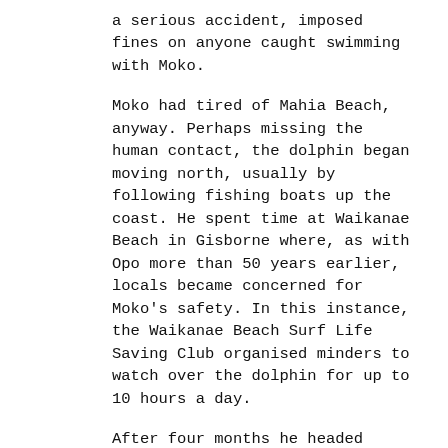a serious accident, imposed fines on anyone caught swimming with Moko.
Moko had tired of Mahia Beach, anyway. Perhaps missing the human contact, the dolphin began moving north, usually by following fishing boats up the coast. He spent time at Waikanae Beach in Gisborne where, as with Opo more than 50 years earlier, locals became concerned for Moko's safety. In this instance, the Waikanae Beach Surf Life Saving Club organised minders to watch over the dolphin for up to 10 hours a day.
After four months he headed north again, first to Whakatane, and finally Tauranga.  In July 2010 the 4 year old dolphin was found dead on a beach at Matakana Island, near Tauranga. Like Opo, Moko's cause of death was never determined. Like Opo, he received a formal burial service. Like Opo, a documentary film, Soul In The Sea, was made about Moko and was released in 2013.